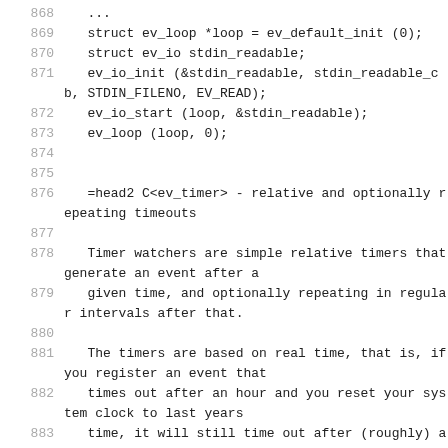868    ...
869    struct ev_loop *loop = ev_default_init (0);
870    struct ev_io stdin_readable;
871    ev_io_init (&stdin_readable, stdin_readable_cb, STDIN_FILENO, EV_READ);
872    ev_io_start (loop, &stdin_readable);
873    ev_loop (loop, 0);
874
875
876 =head2 C<ev_timer> - relative and optionally repeating timeouts
877
878 Timer watchers are simple relative timers that generate an event after a
879 given time, and optionally repeating in regular intervals after that.
880
881 The timers are based on real time, that is, if you register an event that
882 times out after an hour and you reset your system clock to last years
883 time, it will still time out after (roughly) an d hour. "Roughly" because